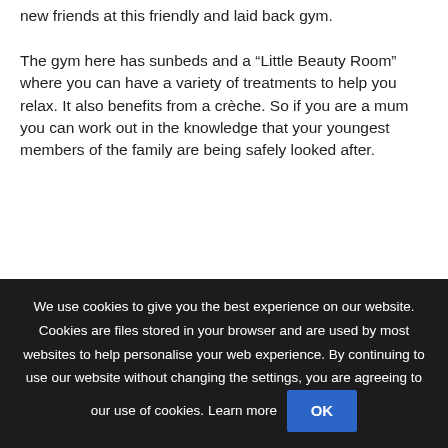new friends at this friendly and laid back gym.
The gym here has sunbeds and a “Little Beauty Room” where you can have a variety of treatments to help you relax. It also benefits from a crèche. So if you are a mum you can work out in the knowledge that your youngest members of the family are being safely looked after.
If you need to find the perfect home to rent, Ashan Property letting agents in Kettering (link to https://www.ashanproperty.com/) are the people to contact. Our experienced and friendly team will find the right property for your requirements whether you are looking for a flat, a terraced property, a semi or a detached family house. Just browse our full range of properties to let in the Northampton area and contact us to find out how we can help.
Ashan Property Ltd,
11 Market Street
We use cookies to give you the best experience on our website. Cookies are files stored in your browser and are used by most websites to help personalise your web experience. By continuing to use our website without changing the settings, you are agreeing to our use of cookies. Learn more   OK